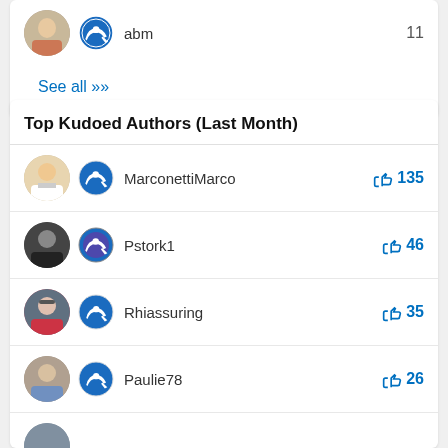abm  11
See all >>
Top Kudoed Authors (Last Month)
MarconettiMarco  135
Pstork1  46
Rhiassuring  35
Paulie78  26